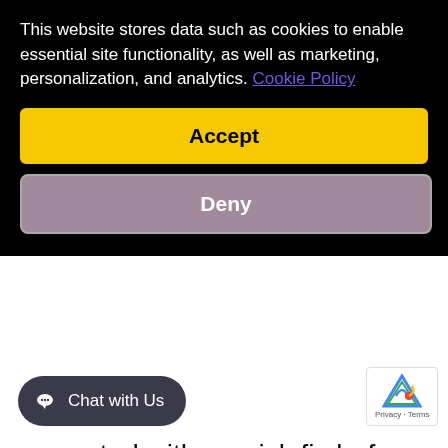This website stores data such as cookies to enable essential site functionality, as well as marketing, personalization, and analytics. Cookie Policy
Accept
Deny
corrected with a quick fix before the need for larger and more costly repairs. For Fort Lauderdale, FL homeowners who have an older-model unit, professional service and routine maintenance can be of tremendous importance. Duct cleaning and equipment inspection and testing are often all that is repair costs from gett out of hand.